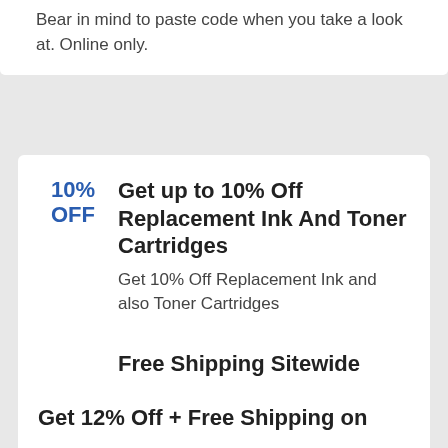Bear in mind to paste code when you take a look at. Online only.
Get up to 10% Off Replacement Ink And Toner Cartridges
Get 10% Off Replacement Ink and also Toner Cartridges
Free Shipping Sitewide
Tap offer to duplicate the coupon code. Bear in mind to paste code when you check out. Online just.
Get 12% Off + Free Shipping on